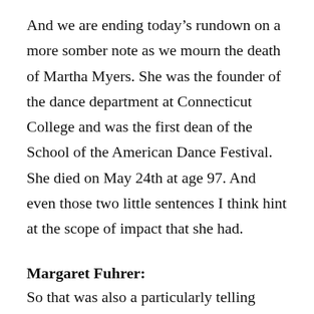And we are ending today's rundown on a more somber note as we mourn the death of Martha Myers. She was the founder of the dance department at Connecticut College and was the first dean of the School of the American Dance Festival. She died on May 24th at age 97. And even those two little sentences I think hint at the scope of impact that she had.
Margaret Fuhrer:
So that was also a particularly telling and...